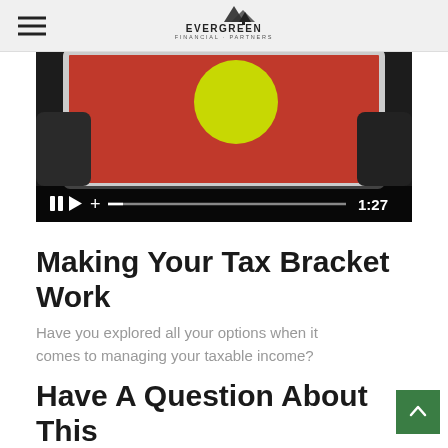Evergreen Financial Partners
[Figure (screenshot): Video player showing a tablet with a colorful graphic (orange/red background with yellow-green circle). Controls bar at bottom shows pause, play, plus icons, progress bar, and timestamp 1:27.]
Making Your Tax Bracket Work
Have you explored all your options when it comes to managing your taxable income?
Have A Question About This